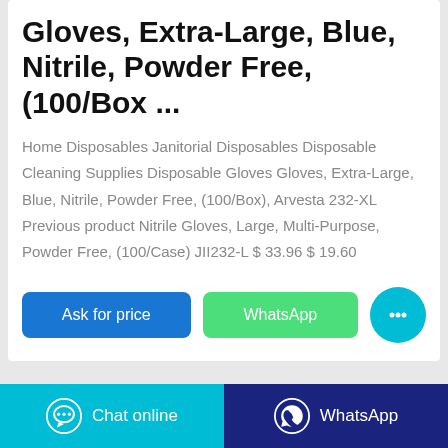Gloves, Extra-Large, Blue, Nitrile, Powder Free, (100/Box ...
Home Disposables Janitorial Disposables Disposable Cleaning Supplies Disposable Gloves Gloves, Extra-Large, Blue, Nitrile, Powder Free, (100/Box), Arvesta 232-XL Previous product Nitrile Gloves, Large, Multi-Purpose, Powder Free, (100/Case) JII232-L $ 33.96 $ 19.60
[Figure (screenshot): Three buttons: blue 'Ask for price', green 'WhatsApp', and a cyan circular chat bubble button with ellipsis icon]
[Figure (screenshot): Bottom bar with two sections: cyan 'Chat online' button with chat icon on the left, and dark blue 'WhatsApp' button with WhatsApp icon on the right]